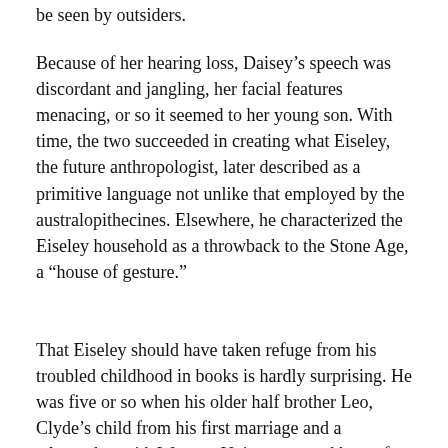be seen by outsiders.
Because of her hearing loss, Daisey's speech was discordant and jangling, her facial features menacing, or so it seemed to her young son. With time, the two succeeded in creating what Eiseley, the future anthropologist, later described as a primitive language not unlike that employed by the australopithecines. Elsewhere, he characterized the Eiseley household as a throwback to the Stone Age, a “house of gesture.”
That Eiseley should have taken refuge from his troubled childhood in books is hardly surprising. He was five or so when his older half brother Leo, Clyde’s child from his first marriage and a telegrapher with Western Union, returned home for a visit bearing a copy of Robinson Crusoe. Eiseley remembered it as a turning point of his youth, enthralled by the story of the marooned Englishman and his man Friday.
Thanks in part to Leo, Eiseley quickly became a voracious and eclectic reader, drawing no distinction